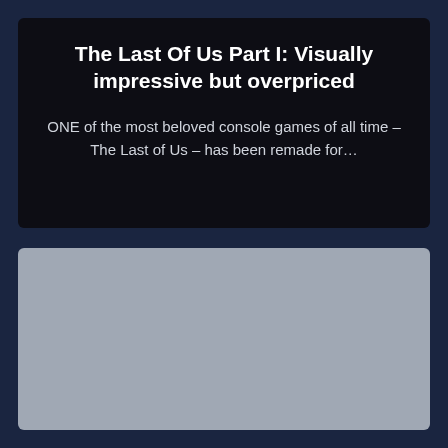The Last Of Us Part I: Visually impressive but overpriced
ONE of the most beloved console games of all time – The Last of Us – has been remade for...
[Figure (photo): Gray placeholder image area representing a photo or screenshot related to The Last of Us Part I article]